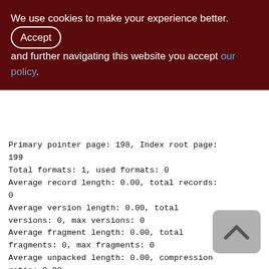We use cookies to make your experience better. By accepting and further navigating this website you accept our policy.
Primary pointer page: 198, Index root page: 199
Total formats: 1, used formats: 0
Average record length: 0.00, total records: 0
Average version length: 0.00, total versions: 0, max versions: 0
Average fragment length: 0.00, total fragments: 0, max fragments: 0
Average unpacked length: 0.00, compression ratio: 0.00
Pointer pages: 1, data page slots: 0